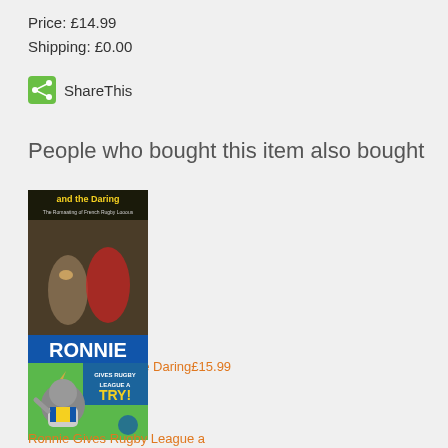Price: £14.99
Shipping: £0.00
ShareThis
People who bought this item also bought
[Figure (photo): Book cover: The Struggle and the Daring - showing rugby league players]
The Struggle and the Daring£15.99
[Figure (photo): Book cover: Ronnie Gives Rugby League a Try - showing cartoon rhino mascot]
Ronnie Gives Rugby League a